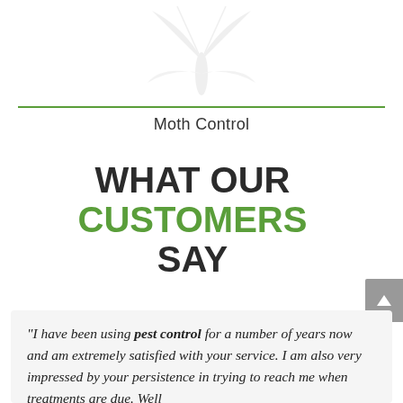[Figure (illustration): Faint light gray silhouette of a moth, partially visible at the top center of the page]
Moth Control
WHAT OUR CUSTOMERS SAY
"I have been using pest control for a number of years now and am extremely satisfied with your service. I am also very impressed by your persistence in trying to reach me when treatments are due. Well